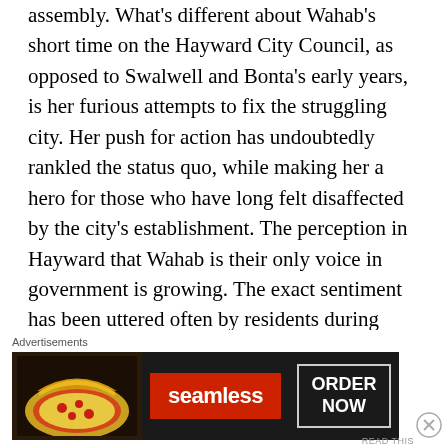assembly. What's different about Wahab's short time on the Hayward City Council, as opposed to Swalwell and Bonta's early years, is her furious attempts to fix the struggling city. Her push for action has undoubtedly rankled the status quo, while making her a hero for those who have long felt disaffected by the city's establishment. The perception in Hayward that Wahab is their only voice in government is growing. The exact sentiment has been uttered often by residents during numerous city council public comment periods. But, expect an attempt from party apparatchiks to recruit candidates that could possibly edge Wahab out of the top two primary next March. Possibly another Muslim
Advertisements
[Figure (other): Seamless food delivery advertisement showing pizza slices on dark background with Seamless logo and ORDER NOW button]